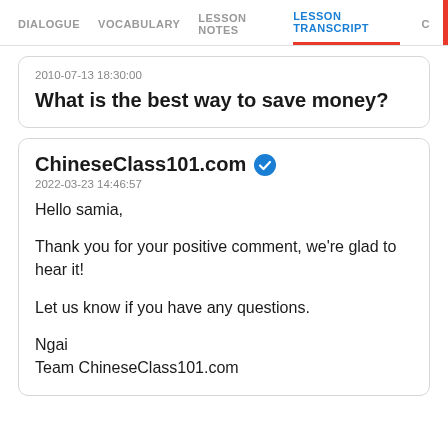DIALOGUE  VOCABULARY  LESSON NOTES  LESSON TRANSCRIPT  C
2010-07-13 18:30:00
What is the best way to save money?
ChineseClass101.com
2022-03-23 14:46:57
Hello samia,

Thank you for your positive comment, we're glad to hear it!

Let us know if you have any questions.

Ngai
Team ChineseClass101.com